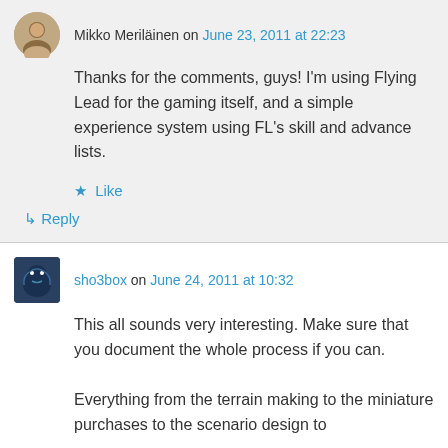Mikko Meriläinen on June 23, 2011 at 22:23
Thanks for the comments, guys! I'm using Flying Lead for the gaming itself, and a simple experience system using FL's skill and advance lists.
★ Like
↳ Reply
sho3box on June 24, 2011 at 10:32
This all sounds very interesting. Make sure that you document the whole process if you can.
Everything from the terrain making to the miniature purchases to the scenario design to